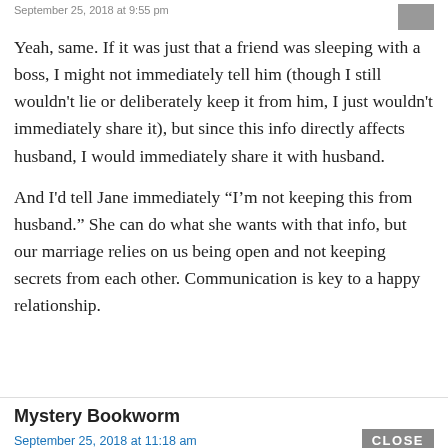Yeah, same. If it was just that a friend was sleeping with a boss, I might not immediately tell him (though I still wouldn't lie or deliberately keep it from him, I just wouldn't immediately share it), but since this info directly affects husband, I would immediately share it with husband.

And I'd tell Jane immediately “I’m not keeping this from husband.” She can do what she wants with that info, but our marriage relies on us being open and not keeping secrets from each other. Communication is key to a happy relationship.
Mystery Bookworm
September 25, 2018 at 11:18 am
Right? I tend to assume that anything I tell my friend might be shared with a spouse, unless they specify otherwise.